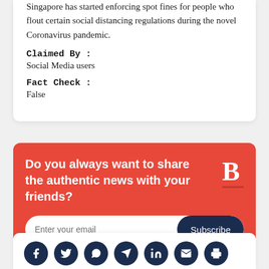Singapore has started enforcing spot fines for people who flout certain social distancing regulations during the novel Coronavirus pandemic.
Claimed By :
Social Media users
Fact Check :
False
Do you always want to share the authentic news with your friends?
Enter your email
Subscribe
[Figure (infographic): Social media share icons row: Facebook, Twitter, WhatsApp, Telegram, LinkedIn, Email, Print — all in dark navy circles]